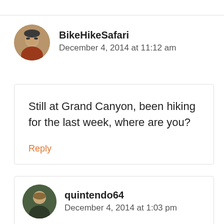BikeHikeSafari
December 4, 2014 at 11:12 am
Still at Grand Canyon, been hiking for the last week, where are you?
Reply
quintendo64
December 4, 2014 at 1:03 pm